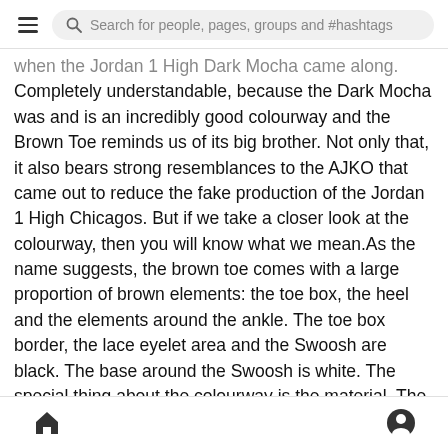Search for people, pages, groups and #hashtags
when the Jordan 1 High Dark Mocha came along. Completely understandable, because the Dark Mocha was and is an incredibly good colourway and the Brown Toe reminds us of its big brother. Not only that, it also bears strong resemblances to the AJKO that came out to reduce the fake production of the Jordan 1 High Chicagos. But if we take a closer look at the colourway, then you will know what we mean.As the name suggests, the brown toe comes with a large proportion of brown elements: the toe box, the heel and the elements around the ankle. The toe box border, the lace eyelet area and the Swoosh are black. The base around the Swoosh is white. The special thing about the colourway is the material. The Jordan 1 Mid is made entirely of canvas. Which is basically